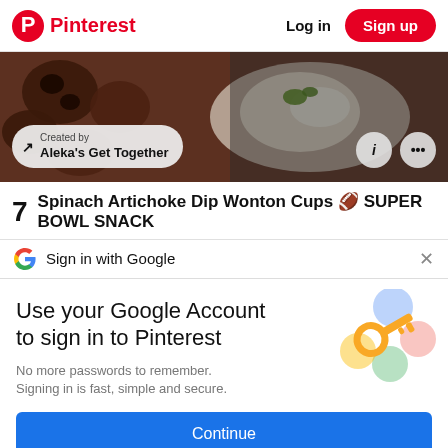Pinterest  Log in  Sign up
[Figure (photo): Food photo showing pretzel bites and dip, with a pill-shaped overlay reading 'Created by Aleka's Get Together' and two circular icon buttons (info and more options)]
7  Spinach Artichoke Dip Wonton Cups 🏈 SUPER BOWL SNACK
Sign in with Google
Use your Google Account to sign in to Pinterest
No more passwords to remember.
Signing in is fast, simple and secure.
[Figure (illustration): Google account key graphic with colorful circles and a golden key]
Continue